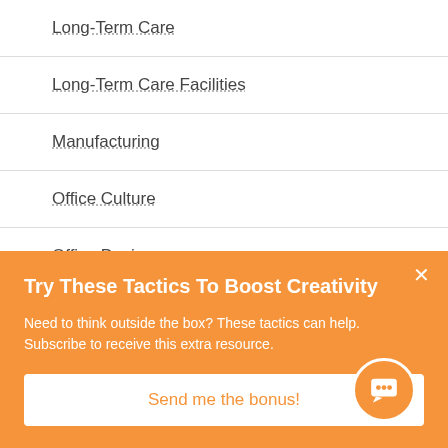Long-Term Care
Long-Term Care Facilities
Manufacturing
Office Culture
Office Design
Office Management
Try These Tactics To Boost Creativity
Need to think outside the box? These tactics can help. Subscribe to receive this extra resource.
Send me the bonus!